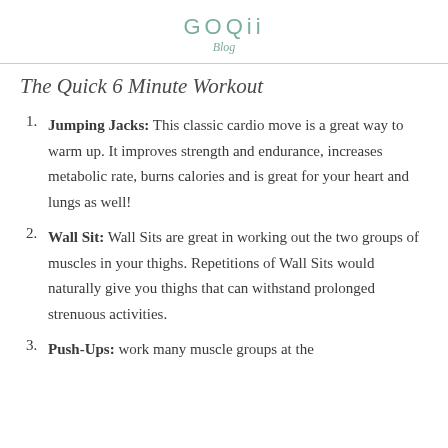GOQii
Blog
The Quick 6 Minute Workout
Jumping Jacks: This classic cardio move is a great way to warm up. It improves strength and endurance, increases metabolic rate, burns calories and is great for your heart and lungs as well!
Wall Sit: Wall Sits are great in working out the two groups of muscles in your thighs. Repetitions of Wall Sits would naturally give you thighs that can withstand prolonged strenuous activities.
Push-Ups: work many muscle groups at the